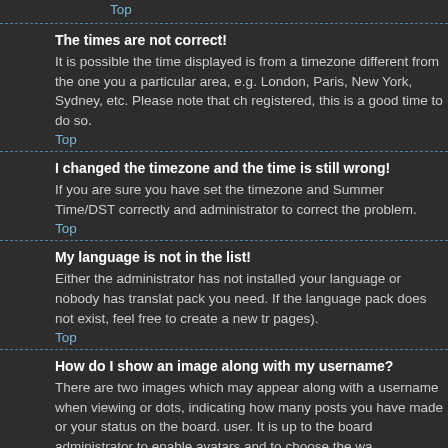Top
The times are not correct!
It is possible the time displayed is from a timezone different from the one you a particular area, e.g. London, Paris, New York, Sydney, etc. Please note that ch registered, this is a good time to do so.
Top
I changed the timezone and the time is still wrong!
If you are sure you have set the timezone and Summer Time/DST correctly and administrator to correct the problem.
Top
My language is not in the list!
Either the administrator has not installed your language or nobody has translat pack you need. If the language pack does not exist, feel free to create a new tr pages).
Top
How do I show an image along with my username?
There are two images which may appear along with a username when viewing or dots, indicating how many posts you have made or your status on the board. user. It is up to the board administrator to enable avatars and to choose the wa administrator and ask them for their reasons.
Top